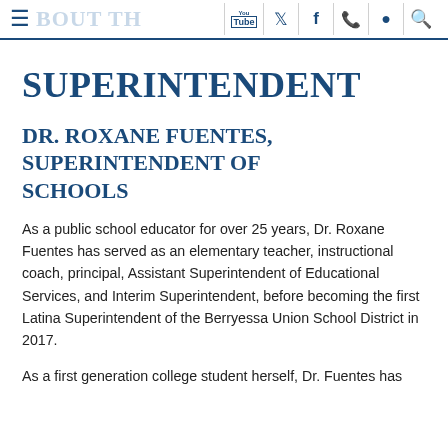≡ ABOUT TH  [YouTube] [Twitter] [Facebook] [Phone] [Location] [Search]
SUPERINTENDENT
DR. ROXANE FUENTES, SUPERINTENDENT OF SCHOOLS
As a public school educator for over 25 years, Dr. Roxane Fuentes has served as an elementary teacher, instructional coach, principal, Assistant Superintendent of Educational Services, and Interim Superintendent, before becoming the first Latina Superintendent of the Berryessa Union School District in 2017.
As a first generation college student herself, Dr. Fuentes has